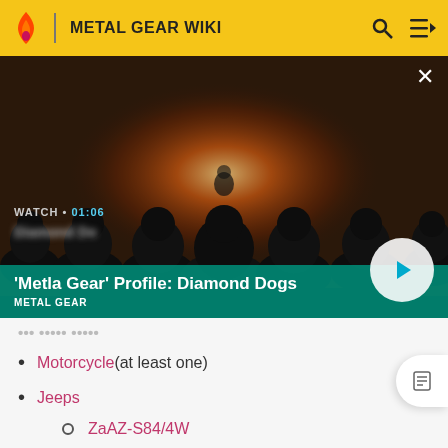METAL GEAR WIKI
[Figure (screenshot): Video thumbnail showing soldiers seated with backs to camera watching a figure before a fiery explosion. Title overlay: 'Metla Gear' Profile: Diamond Dogs. Watch 01:06. METAL GEAR tag.]
...covered in obscured text...
Motorcycle (at least one)
Jeeps
ZaAZ-S84/4W
APE T-41LV